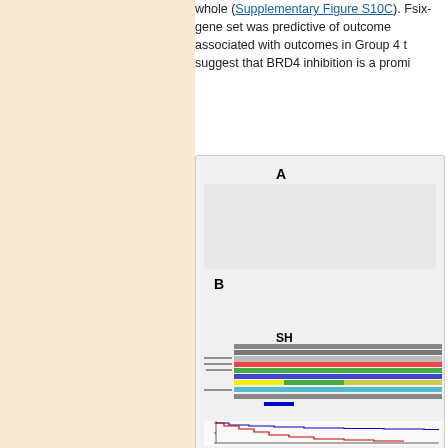whole (Supplementary Figure S10C). [text continues] six-gene set was predictive of outcome [text continues] associated with outcomes in Group 4 t[text continues] suggest that BRD4 inhibition is a promi[text continues]
[Figure (other): Figure panel showing label A (top, blank/gray panel) and label B (bottom, with heatmap rows of colored blocks labeled SH- followed by a Kaplan-Meier survival curve with red and blue lines)]